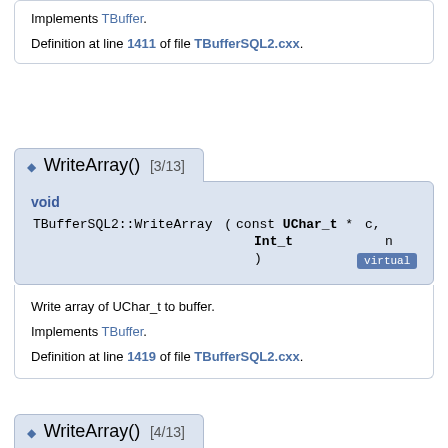Implements TBuffer.
Definition at line 1411 of file TBufferSQL2.cxx.
◆ WriteArray() [3/13]
void TBufferSQL2::WriteArray ( const UChar_t * c, Int_t n ) virtual
Write array of UChar_t to buffer.
Implements TBuffer.
Definition at line 1419 of file TBufferSQL2.cxx.
◆ WriteArray() [4/13]